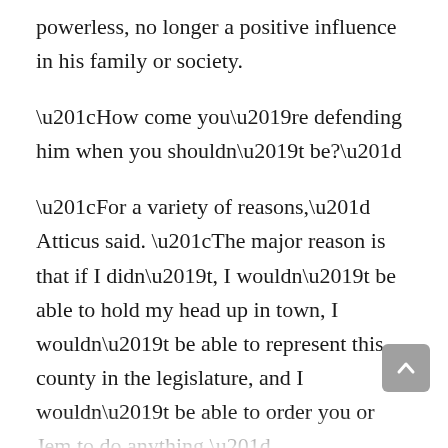powerless, no longer a positive influence in his family or society.
“How come you’re defending him when you shouldn’t be?”
“For a variety of reasons,” Atticus said. “The major reason is that if I didn’t, I wouldn’t be able to hold my head up in town, I wouldn’t be able to represent this county in the legislature, and I wouldn’t be able to order you or Jem to do anything.”
“Do you mean Jem and I wouldn’t have to worry about you if you didn’t protect that